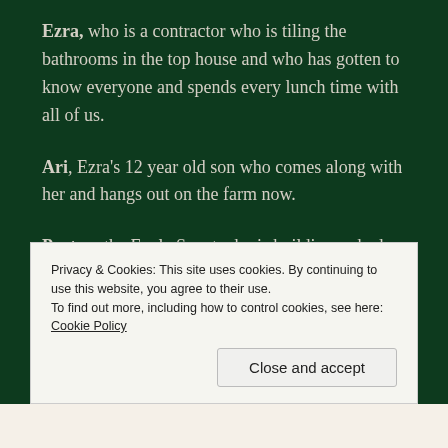Ezra, who is a contractor who is tiling the bathrooms in the top house and who has gotten to know everyone and spends every lunch time with all of us.
Ari, Ezra's 12 year old son who comes along with her and hangs out on the farm now.
Peyton, the Eagle Scout who is building a shed here as his project.
Privacy & Cookies: This site uses cookies. By continuing to use this website, you agree to their use.
To find out more, including how to control cookies, see here: Cookie Policy
Close and accept